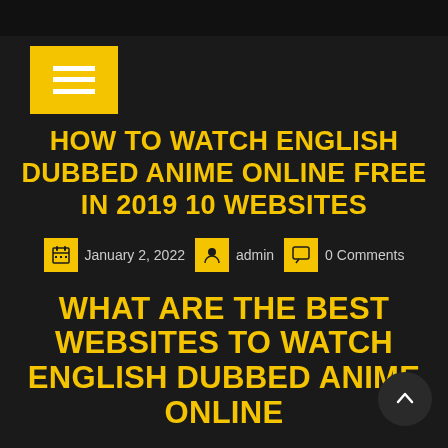[Figure (other): Yellow hamburger menu button with three white horizontal lines]
HOW TO WATCH ENGLISH DUBBED ANIME ONLINE FREE IN 2019 10 WEBSITES
January 2, 2022  admin  0 Comments
WHAT ARE THE BEST WEBSITES TO WATCH ENGLISH DUBBED ANIME ONLINE